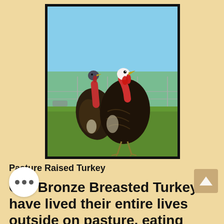[Figure (photo): Two Bronze Breasted Turkeys standing on green pasture grass in front of a wire fence with trees and blue sky in background. The turkeys have dark brown/black feathers with red and blue heads/necks.]
Pasture Raised Turkey
Our Bronze Breasted Turkeys have lived their entire lives outside on pasture, eating June beetles and Japanese beetles along with